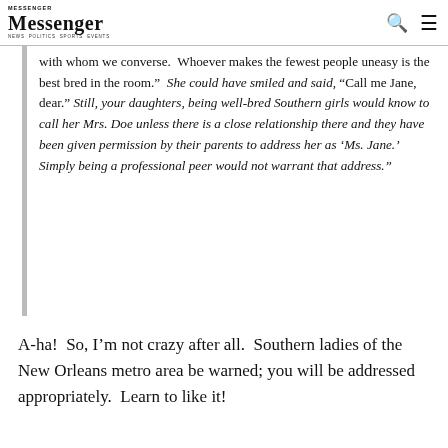Messenger
with whom we converse.  Whoever makes the fewest people uneasy is the best bred in the room.”  She could have smiled and said, “Call me Jane, dear.” Still, your daughters, being well-bred Southern girls would know to call her Mrs. Doe unless there is a close relationship there and they have been given permission by their parents to address her as ‘Ms. Jane.’  Simply being a professional peer would not warrant that address.”
A-ha!  So, I’m not crazy after all.  Southern ladies of the New Orleans metro area be warned; you will be addressed appropriately.  Learn to like it!